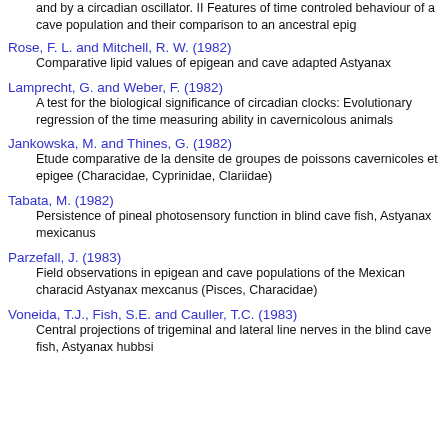and by a circadian oscillator. II Features of time controled behaviour of a cave population and their comparison to an ancestral epig
Rose, F. L. and Mitchell, R. W. (1982)
Comparative lipid values of epigean and cave adapted Astyanax
Lamprecht, G. and Weber, F. (1982)
A test for the biological significance of circadian clocks: Evolutionary regression of the time measuring ability in cavernicolous animals
Jankowska, M. and Thines, G. (1982)
Etude comparative de la densite de groupes de poissons cavernicoles et epigee (Characidae, Cyprinidae, Clariidae)
Tabata, M. (1982)
Persistence of pineal photosensory function in blind cave fish, Astyanax mexicanus
Parzefall, J. (1983)
Field observations in epigean and cave populations of the Mexican characid Astyanax mexcanus (Pisces, Characidae)
Voneida, T.J., Fish, S.E. and Cauller, T.C. (1983)
Central projections of trigeminal and lateral line nerves in the blind cave fish, Astyanax hubbsi